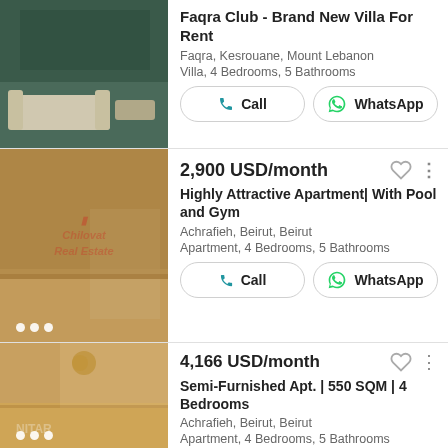[Figure (photo): Interior photo of a modern living room with grey sofa and dark wood floor]
Faqra Club - Brand New Villa For Rent
Faqra, Kesrouane, Mount Lebanon
Villa, 4 Bedrooms, 5 Bathrooms
Call | WhatsApp
[Figure (photo): Interior photo of a spacious apartment with warm tones and agency watermark]
2,900 USD/month
Highly Attractive Apartment| With Pool and Gym
Achrafieh, Beirut, Beirut
Apartment, 4 Bedrooms, 5 Bathrooms
Call | WhatsApp
[Figure (photo): Interior photo of a large apartment with chandelier and open floor plan]
4,166 USD/month
Semi-Furnished Apt. | 550 SQM | 4 Bedrooms
Achrafieh, Beirut, Beirut
Apartment, 4 Bedrooms, 5 Bathrooms
Call | WhatsApp